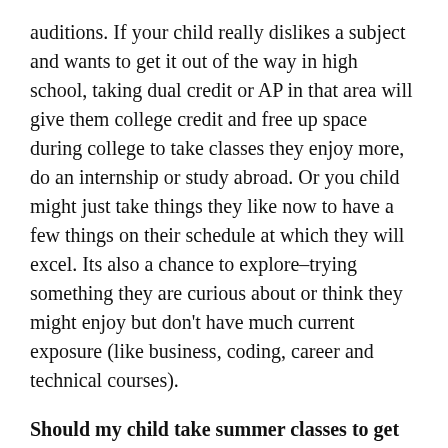auditions. If your child really dislikes a subject and wants to get it out of the way in high school, taking dual credit or AP in that area will give them college credit and free up space during college to take classes they enjoy more, do an internship or study abroad. Or you child might just take things they like now to have a few things on their schedule at which they will excel. Its also a chance to explore–trying something they are curious about or think they might enjoy but don't have much current exposure (like business, coding, career and technical courses).
Should my child take summer classes to get ahead? Summer can be a great way to challenge yourself, explore interests, and strengthen college applications. Summer classes are one way to take additional coursework. There are many intensive